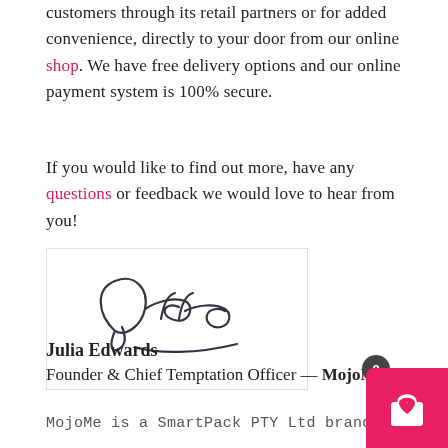customers through its retail partners or for added convenience, directly to your door from our online shop. We have free delivery options and our online payment system is 100% secure.
If you would like to find out more, have any questions or feedback we would love to hear from you!
[Figure (illustration): Handwritten signature of Julia Edwards]
Julia Edwards
Founder & Chief Temptation Officer — MojoMe
MojoMe is a SmartPack PTY Ltd brand.
[Figure (illustration): Pink shopping cart widget button with heart icon and badge showing 0]